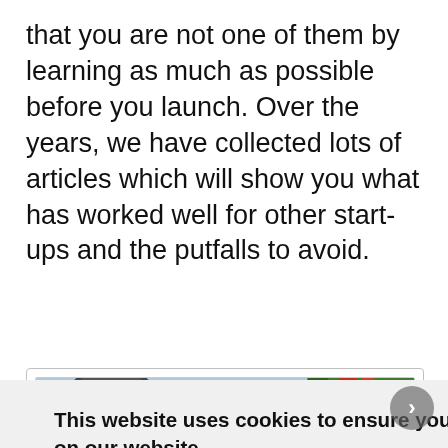that you are not one of them by learning as much as possible before you launch. Over the years, we have collected lots of articles which will show you what has worked well for other start-ups and the putfalls to avoid.
[Figure (screenshot): Screenshot of a website showing an agricultural image (tractor/farming equipment wheels and green machinery) partially visible behind a cookie consent popup overlay.]
This website uses cookies to ensure you get the best experience on our website.
Learn more
Got it!